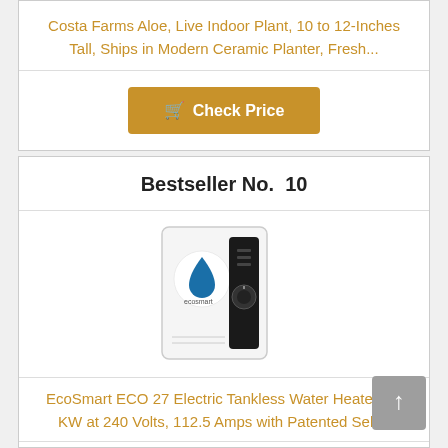Costa Farms Aloe, Live Indoor Plant, 10 to 12-Inches Tall, Ships in Modern Ceramic Planter, Fresh...
Check Price
Bestseller No. 10
[Figure (photo): Product photo of EcoSmart ECO 27 Electric Tankless Water Heater — a white rectangular unit with a blue water drop logo and ecosmart branding on the left, and a black control panel with a dial/knob on the right side.]
EcoSmart ECO 27 Electric Tankless Water Heater, 27 KW at 240 Volts, 112.5 Amps with Patented Self...
Check Price